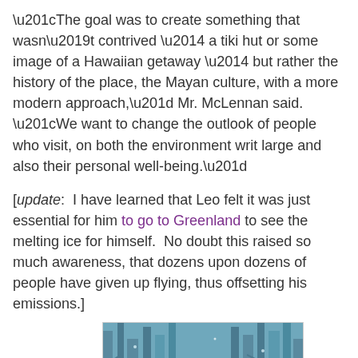“The goal was to create something that wasn’t contrived — a tiki hut or some image of a Hawaiian getaway — but rather the history of the place, the Mayan culture, with a more modern approach,” Mr. McLennan said. “We want to change the outlook of people who visit, on both the environment writ large and also their personal well-being.”
[update: I have learned that Leo felt it was just essential for him to go to Greenland to see the melting ice for himself. No doubt this raised so much awareness, that dozens upon dozens of people have given up flying, thus offsetting his emissions.]
[Figure (illustration): Painting of a woman with a golden halo standing in a teal forest with bare trees and glowing sparkles around her]